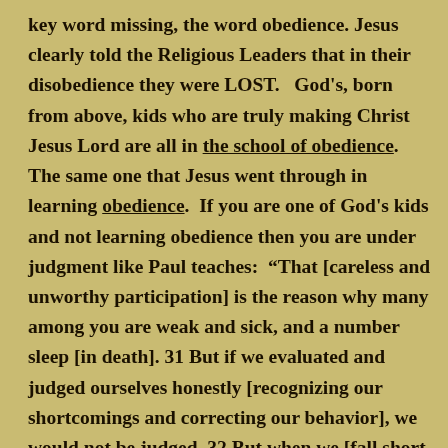key word missing, the word obedience. Jesus clearly told the Religious Leaders that in their disobedience they were LOST.   God's, born from above, kids who are truly making Christ Jesus Lord are all in the school of obedience.  The same one that Jesus went through in learning obedience.  If you are one of God's kids and not learning obedience then you are under judgment like Paul teaches:  “That [careless and unworthy participation] is the reason why many among you are weak and sick, and a number sleep [in death]. 31 But if we evaluated and judged ourselves honestly [recognizing our shortcomings and correcting our behavior], we would not be judged. 32 But when we [fall short and] are